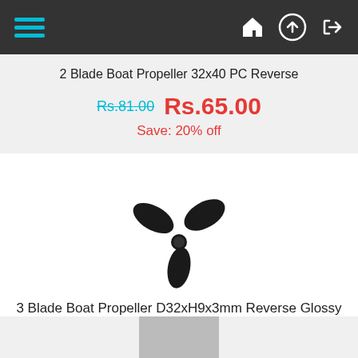[Figure (screenshot): Navigation bar with hamburger menu (cyan lines) on the left and home, upload, and login icons on the right, on dark grey background]
2 Blade Boat Propeller 32x40 PC Reverse
Rs.81.00  Rs.65.00
Save: 20% off
[Figure (photo): 3-blade black glossy boat propeller viewed from above at an angle]
3 Blade Boat Propeller D32xH9x3mm Reverse Glossy Black
Rs.150.00  Rs.120.00
Save: 20% off
[Figure (photo): Partial view of a third product at bottom of page, grey/silver item]